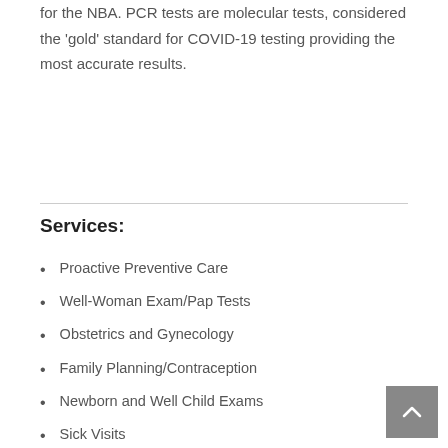for the NBA. PCR tests are molecular tests, considered the 'gold' standard for COVID-19 testing providing the most accurate results.
Services:
Proactive Preventive Care
Well-Woman Exam/Pap Tests
Obstetrics and Gynecology
Family Planning/Contraception
Newborn and Well Child Exams
Sick Visits
Immunizations
Chronic Disease Management
Physicals, Sports Physicals